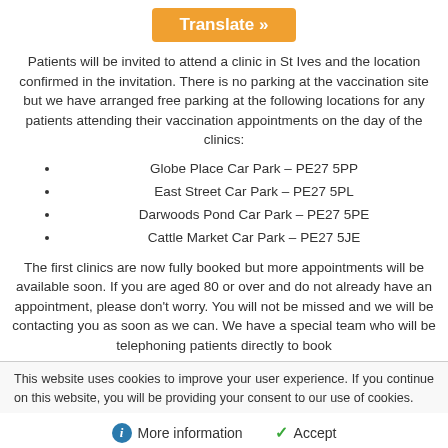[Figure (other): Orange Translate button with right arrow]
Patients will be invited to attend a clinic in St Ives and the location confirmed in the invitation. There is no parking at the vaccination site but we have arranged free parking at the following locations for any patients attending their vaccination appointments on the day of the clinics:
Globe Place Car Park – PE27 5PP
East Street Car Park – PE27 5PL
Darwoods Pond Car Park – PE27 5PE
Cattle Market Car Park – PE27 5JE
The first clinics are now fully booked but more appointments will be available soon. If you are aged 80 or over and do not already have an appointment, please don't worry. You will not be missed and we will be contacting you as soon as we can. We have a special team who will be telephoning patients directly to book
This website uses cookies to improve your user experience. If you continue on this website, you will be providing your consent to our use of cookies.
More information    Accept